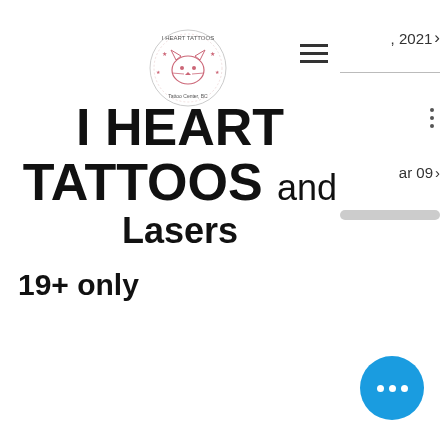[Figure (logo): Circular logo for I Heart Tattoos and Lasers tattoo studio, showing a cartoon cat with text around the border]
I HEART TATTOOS and Lasers
19+ only